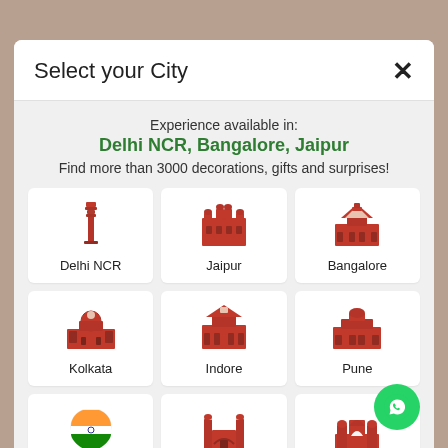Select your City
Experience available in:
Delhi NCR, Bangalore, Jaipur
Find more than 3000 decorations, gifts and surprises!
[Figure (screenshot): City selection grid with 9 city cards: Delhi NCR (Qutub Minar icon), Jaipur (Hawa Mahal icon), Bangalore (palace/monument icon), Kolkata (Victoria Memorial icon), Indore (palace icon), Pune (palace icon), Across India (India map icon), Hyderabad (Charminar icon), Mumbai (Gateway of India icon)]